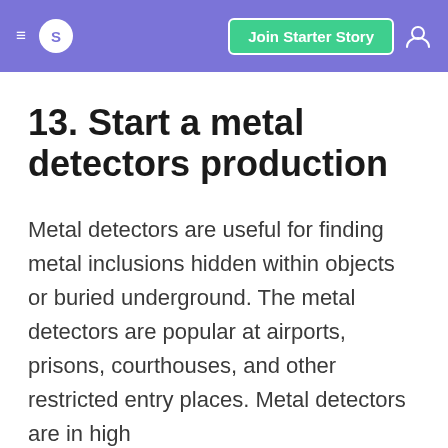S  Join Starter Story
13. Start a metal detectors production
Metal detectors are useful for finding metal inclusions hidden within objects or buried underground. The metal detectors are popular at airports, prisons, courthouses, and other restricted entry places. Metal detectors are in high